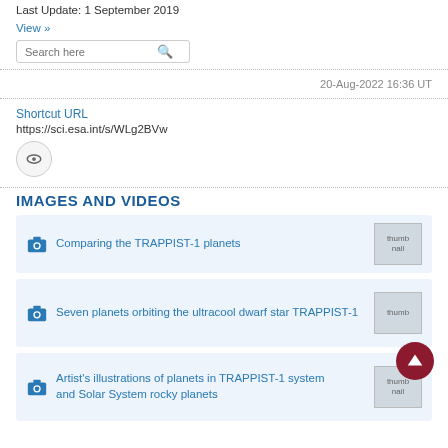Last Update: 1 September 2019
View »
20-Aug-2022 16:36 UT
Shortcut URL
https://sci.esa.int/s/WLg2BVw
IMAGES AND VIDEOS
Comparing the TRAPPIST-1 planets
Seven planets orbiting the ultracool dwarf star TRAPPIST-1
Artist's illustrations of planets in TRAPPIST-1 system and Solar System rocky planets